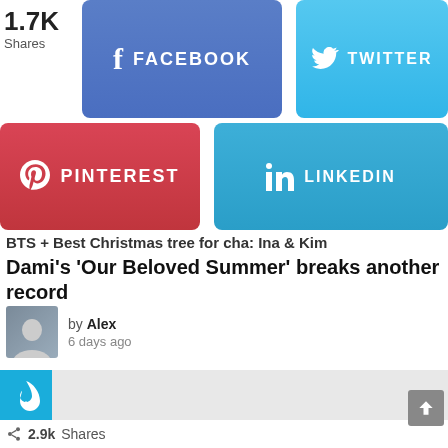1.7K Shares
FACEBOOK
TWITTER
PINTEREST
LINKEDIN
BTS + Best Christmas tree for cha: Ina & Kim Dami's 'Our Beloved Summer' breaks another record
by Alex
6 days ago
[Figure (other): Light grey placeholder content area with a blue flame icon in the top-left corner]
2.9k Shares